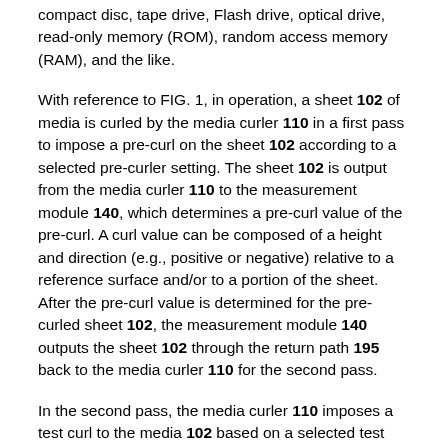compact disc, tape drive, Flash drive, optical drive, read-only memory (ROM), random access memory (RAM), and the like.
With reference to FIG. 1, in operation, a sheet 102 of media is curled by the media curler 110 in a first pass to impose a pre-curl on the sheet 102 according to a selected pre-curler setting. The sheet 102 is output from the media curler 110 to the measurement module 140, which determines a pre-curl value of the pre-curl. A curl value can be composed of a height and direction (e.g., positive or negative) relative to a reference surface and/or to a portion of the sheet. After the pre-curl value is determined for the pre-curled sheet 102, the measurement module 140 outputs the sheet 102 through the return path 195 back to the media curler 110 for the second pass.
In the second pass, the media curler 110 imposes a test curl to the media 102 based on a selected test curler setting of the media curler 110. The test curl affects the pre-curl value of the pre-curled sheet 102 by applying a down-curl or an up-curl to the portion of the sheet 102 where the known pre-curl is located. The sheet 102 is again output from the media curler 110 to the